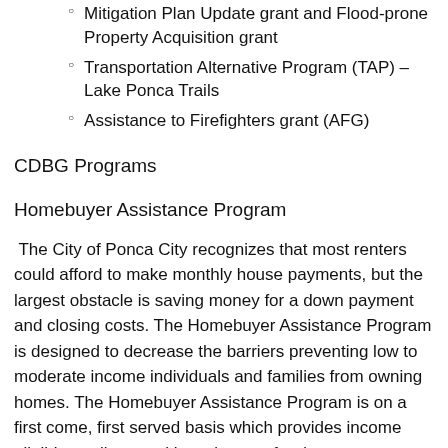Mitigation Plan Update grant and Flood-prone Property Acquisition grant
Transportation Alternative Program (TAP) – Lake Ponca Trails
Assistance to Firefighters grant (AFG)
CDBG Programs
Homebuyer Assistance Program
The City of Ponca City recognizes that most renters could afford to make monthly house payments, but the largest obstacle is saving money for a down payment and closing costs. The Homebuyer Assistance Program is designed to decrease the barriers preventing low to moderate income individuals and families from owning homes. The Homebuyer Assistance Program is on a first come, first served basis which provides income eligible applicants with assistance for down payment and closing costs up to $3,500, based on funding availability. Homebuyers Assistance Application
Interim Assistance/Special Services